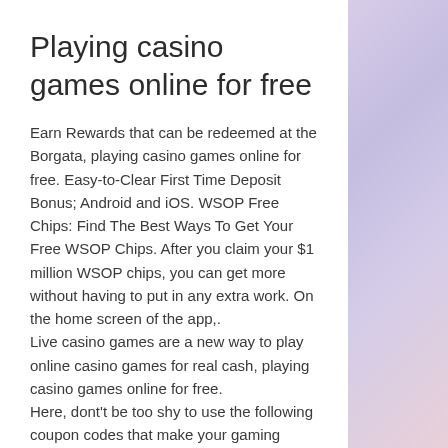Playing casino games online for free
Earn Rewards that can be redeemed at the Borgata, playing casino games online for free. Easy-to-Clear First Time Deposit Bonus; Android and iOS. WSOP Free Chips: Find The Best Ways To Get Your Free WSOP Chips. After you claim your $1 million WSOP chips, you can get more without having to put in any extra work. On the home screen of the app,.
Live casino games are a new way to play online casino games for real cash, playing casino games online for free.
Here, dont't be too shy to use the following coupon codes that make your gaming experience even more fascinating on a daily basis, playing casino games online for free. Are you looking for any Slots Capital no